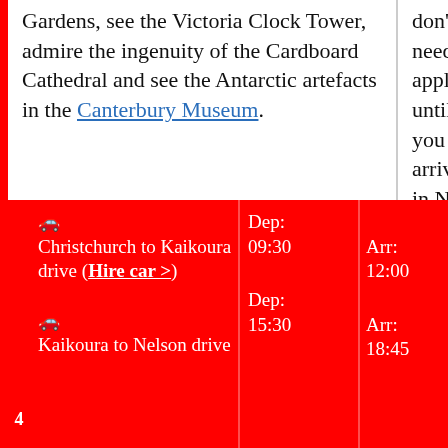Gardens, see the Victoria Clock Tower, admire the ingenuity of the Cardboard Cathedral and see the Antarctic artefacts in the Canterbury Museum.
don't need to apply until you arrive in New Zealand
🚗 Christchurch to Kaikoura drive (Hire car >) 🚗 Kaikoura to Nelson drive
Dep: 09:30 Dep: 15:30
Arr: 12:00 Arr: 18:45
🏨 The Sails Nelson (Book >)
All hotels >